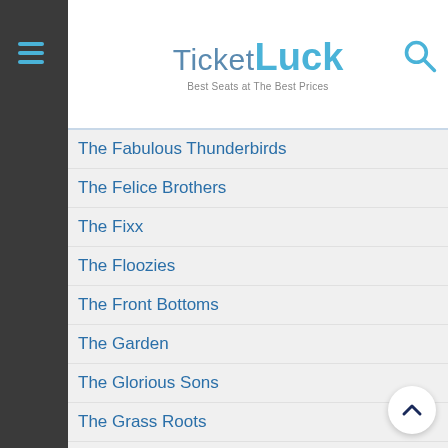Ticket Luck — Best Seats at The Best Prices
The Fabulous Thunderbirds
The Felice Brothers
The Fixx
The Floozies
The Front Bottoms
The Garden
The Glorious Sons
The Grass Roots
The Hooters
The Imposters
The Jay Formidable